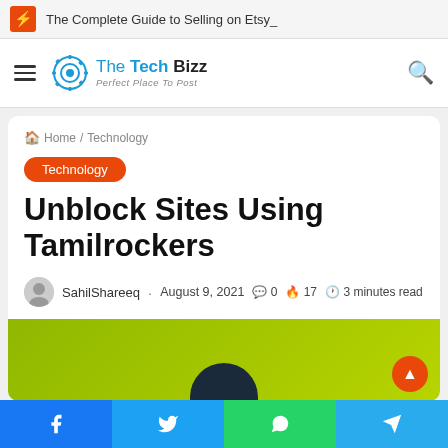The Complete Guide to Selling on Etsy_
[Figure (logo): The Tech Bizz logo with gear icon and tagline 'Perfect Place To Post']
Home / Technology
Technology
Unblock Sites Using Tamilrockers
SahilShareeq · August 9, 2021 · 0 · 17 · 3 minutes read
[Figure (photo): Article hero image with green/lime background and dark circular element at bottom]